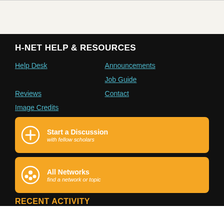H-NET HELP & RESOURCES
Help Desk
Announcements
Job Guide
Reviews
Contact
Image Credits
[Figure (infographic): Orange button: Start a Discussion - with fellow scholars]
[Figure (infographic): Orange button: All Networks - find a network or topic]
RECENT ACTIVITY